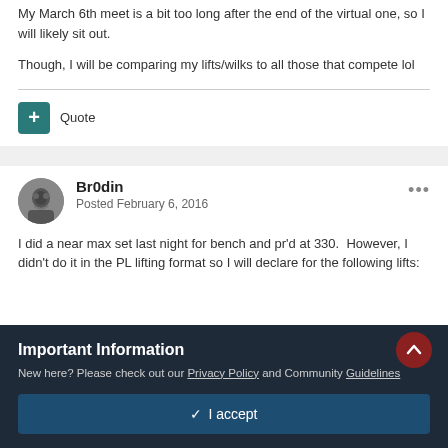My March 6th meet is a bit too long after the end of the virtual one, so I will likely sit out.
Though, I will be comparing my lifts/wilks to all those that compete lol
+ Quote
Br0din
Posted February 6, 2016
I did a near max set last night for bench and pr'd at 330.  However, I didn't do it in the PL lifting format so I will declare for the following lifts:
Important Information
New here? Please check out our Privacy Policy and Community Guidelines
✓ I accept